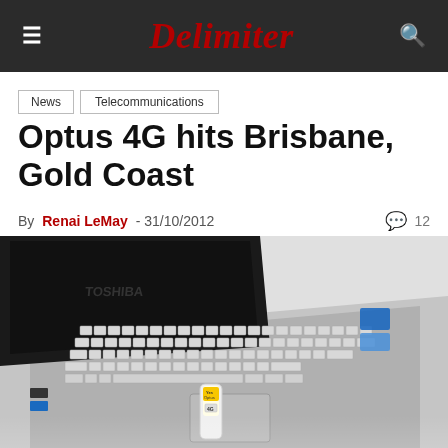Delimiter
News  Telecommunications
Optus 4G hits Brisbane, Gold Coast
By Renai LeMay - 31/10/2012  💬 12
[Figure (photo): A Toshiba laptop with an Optus 4G USB modem dongle inserted into a USB port, photographed from above at an angle on a white background.]